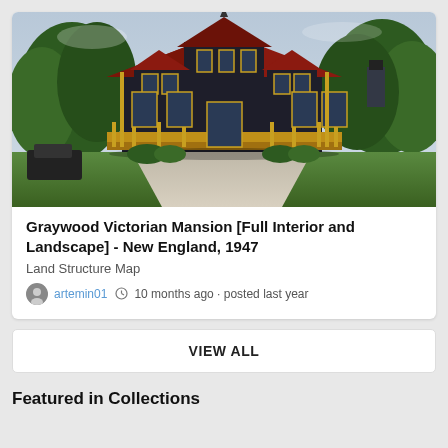[Figure (illustration): Rendered image of Graywood Victorian Mansion with trees, lawn, driveway, and dark Victorian architecture with gold trim]
Graywood Victorian Mansion [Full Interior and Landscape] - New England, 1947
Land Structure Map
artemin01  © 10 months ago • posted last year
VIEW ALL
Featured in Collections